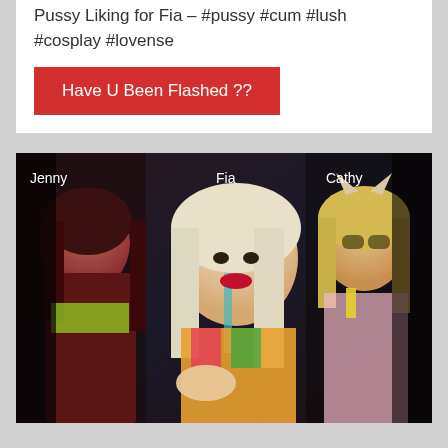Pussy Liking for Fia – #pussy #cum #lush #cosplay #lovense
Have U Been Flashed ??
[Figure (photo): Photo of three women labeled Jenny (left), Fia (center, blonde with red lips, leaning forward), and Cathy (right), appearing to be in a webcam/streaming setting with dark background.]